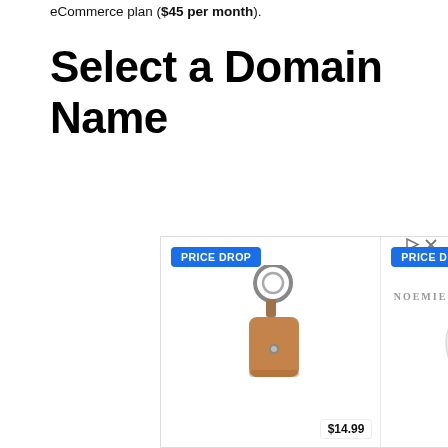eCommerce plan ($45 per month).
Select a Domain Name
[Figure (illustration): Advertisement banner showing three leather accessories with 'PRICE DROP' badges: a brown keychain/pouch at $14.99, a white round coin purse at $29.99, and a black card wallet at $39.99, from brand NOEMIE. Includes play/close ad icons.]